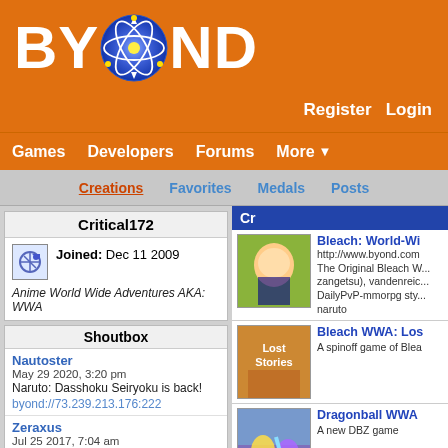BYOND — Games | Developers | Forums | More | Register | Login
Creations | Favorites | Medals | Posts
Critical172
Joined: Dec 11 2009
Anime World Wide Adventures AKA: WWA
Shoutbox
Nautoster
May 29 2020, 3:20 pm
Naruto: Dasshoku Seiryoku is back!
byond://73.239.213.176:222
Zeraxus
Jul 25 2017, 7:04 am
Would be great if you gave other people the chance to host this game.
MiniHawk
Apr 4 2015, 7:02 am
Cr
[Figure (screenshot): Bleach anime screenshot thumbnail]
Bleach: World-Wi
http://www.byond.com
The Original Bleach W... zangetsu), vandenreic...
DailyPvP-mmorpg sty...
naruto
[Figure (screenshot): Lost Stories game thumbnail with orange background showing anime characters]
Bleach WWA: Los
A spinoff game of Blea
[Figure (screenshot): Dragonball WWA game thumbnail showing DBZ characters fighting]
Dragonball WWA
A new DBZ game
[Figure (screenshot): Naruto game thumbnail]
Naruto WWA